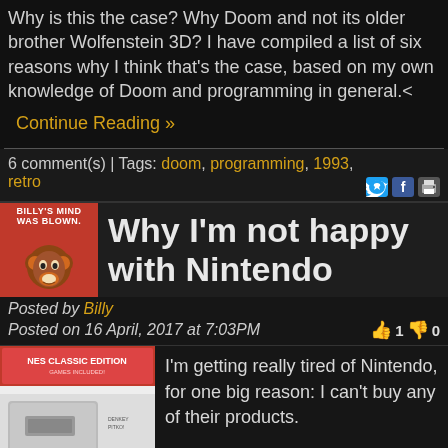Why is this the case? Why Doom and not its older brother Wolfenstein 3D? I have compiled a list of six reasons why I think that's the case, based on my own knowledge of Doom and programming in general.<
Continue Reading »
6 comment(s) | Tags: doom, programming, 1993, retro
Why I'm not happy with Nintendo
Posted by Billy
Posted on 16 April, 2017 at 7:03PM
[Figure (photo): NES Classic Edition box product photo]
I'm getting really tired of Nintendo, for one big reason: I can't buy any of their products.
I'm sure you remember the